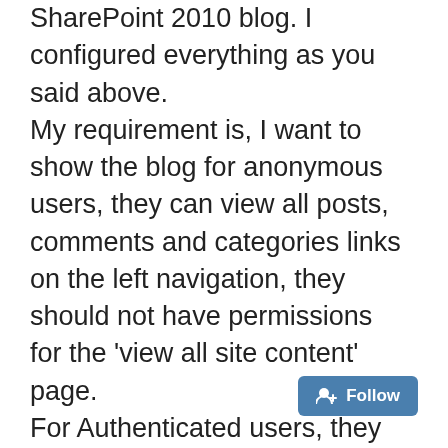SharePoint 2010 blog. I configured everything as you said above. My requirement is, I want to show the blog for anonymous users, they can view all posts, comments and categories links on the left navigation, they should not have permissions for the 'view all site content' page. For Authenticated users, they can able to view posts, comments and add comments for the comments part. They should not have
[Figure (other): Follow button with user-plus icon, blue background, white text reading '+ Follow']